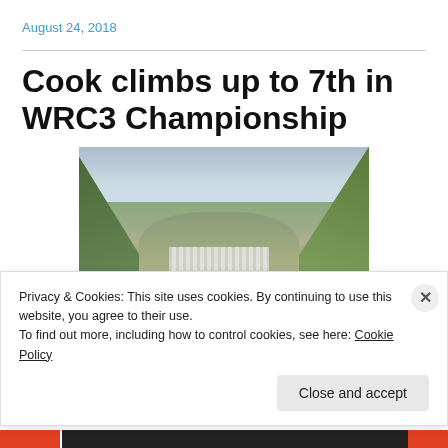August 24, 2018
Cook climbs up to 7th in WRC3 Championship
[Figure (photo): Landscape photo of a valley town with green hills on either side, overcast sky, and a rally car visible at the bottom of the frame]
Privacy & Cookies: This site uses cookies. By continuing to use this website, you agree to their use.
To find out more, including how to control cookies, see here: Cookie Policy